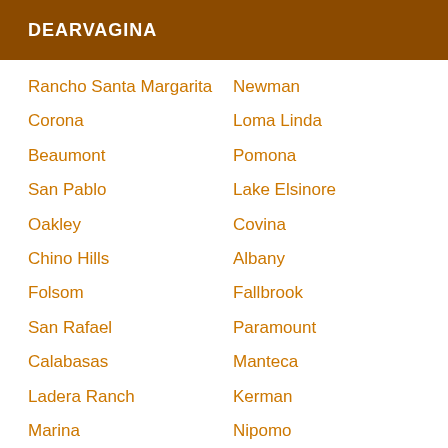DEARVAGINA
Rancho Santa Margarita
Corona
Beaumont
San Pablo
Oakley
Chino Hills
Folsom
San Rafael
Calabasas
Ladera Ranch
Marina
San Clemente
Newman
Loma Linda
Pomona
Lake Elsinore
Covina
Albany
Fallbrook
Paramount
Manteca
Kerman
Nipomo
San Dimas